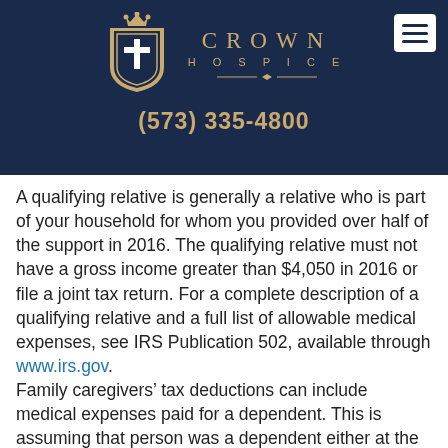[Figure (logo): Crown Hospice logo: shield with cross on dark navy background, gold decorative crown on top, gold border]
CROWN HOSPICE
(573) 335-4800
A qualifying relative is generally a relative who is part of your household for whom you provided over half of the support in 2016. The qualifying relative must not have a gross income greater than $4,050 in 2016 or file a joint tax return. For a complete description of a qualifying relative and a full list of allowable medical expenses, see IRS Publication 502, available through www.irs.gov.
Family caregivers' tax deductions can include medical expenses paid for a dependent. This is assuming that person was a dependent either at the time medical services were